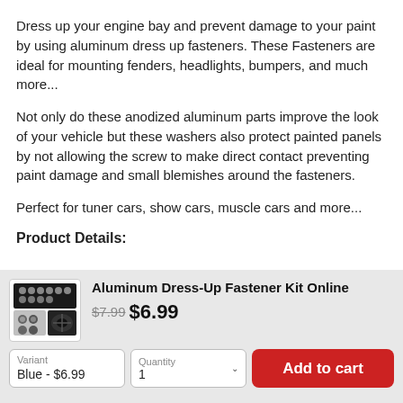Dress up your engine bay and prevent damage to your paint by using aluminum dress up fasteners. These Fasteners are ideal for mounting fenders, headlights, bumpers, and much more...
Not only do these anodized aluminum parts improve the look of your vehicle but these washers also protect painted panels by not allowing the screw to make direct contact preventing paint damage and small blemishes around the fasteners.
Perfect for tuner cars, show cars, muscle cars and more...
Product Details:
[Figure (photo): Product image showing aluminum dress-up fastener kit with screws and washers]
Aluminum Dress-Up Fastener Kit Online $7.99 $6.99 Variant: Blue - $6.99 Quantity: 1 Add to cart